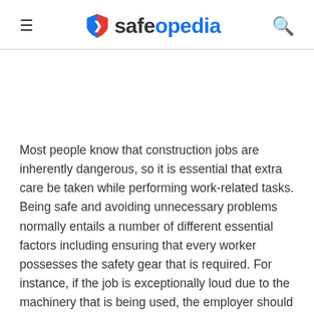safeopedia
Most people know that construction jobs are inherently dangerous, so it is essential that extra care be taken while performing work-related tasks. Being safe and avoiding unnecessary problems normally entails a number of different essential factors including ensuring that every worker possesses the safety gear that is required. For instance, if the job is exceptionally loud due to the machinery that is being used, the employer should ensure that all of the workers on the job has industrial ear plugs. Industrial ear plugs are designed to block noise so that no